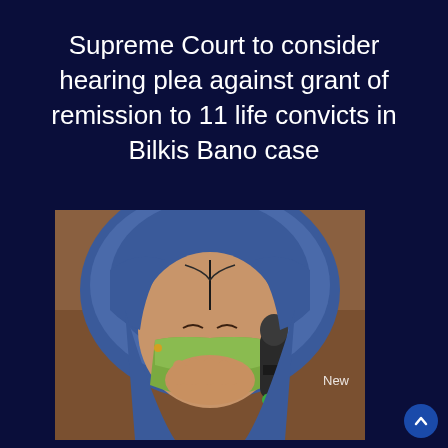Supreme Court to consider hearing plea against grant of remission to 11 life convicts in Bilkis Bano case
[Figure (photo): A woman in a blue headscarf covering her face with a green cloth while crying, holding a microphone. Watermark text 'New' visible in lower right of image.]